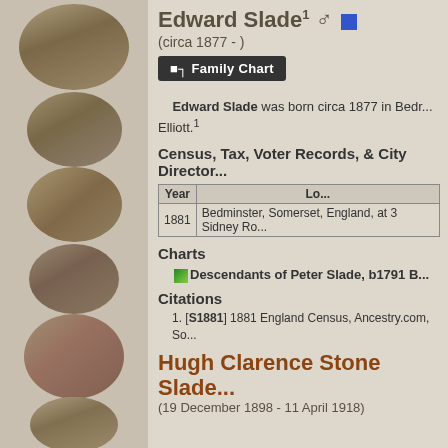[Figure (photo): Left column of sepia-toned oval portrait photos of historical individuals]
Edward Slade1 ♂ ■
(circa 1877 - )
■ Family Chart
Edward Slade was born circa 1877 in Bedminster... Elliott.1
Census, Tax, Voter Records, & City Director...
| Year | Lo... |
| --- | --- |
| 1881 | Bedminster, Somerset, England, at 3 Sidney Ro... |
Charts
Descendants of Peter Slade, b1791 B...
Citations
1. [S1881] 1881 England Census, Ancestry.com, So...
Hugh Clarence Stone Slade...
(19 December 1898 - 11 April 1918)